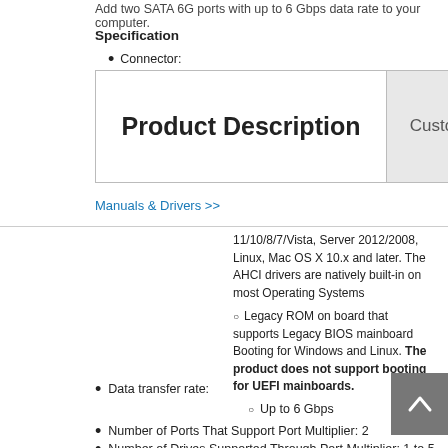Add two SATA 6G ports with up to 6 Gbps data rate to your computer.
Specification
Connector:
Product Description
Customer FAQ
Manuals & Drivers >>
11/10/8/7/Vista, Server 2012/2008, Linux, Mac OS X 10.x and later. The AHCI drivers are natively built-in on most Operating Systems
Legacy ROM on board that supports Legacy BIOS mainboard Booting for Windows and Linux. The product does not support booting for UEFI mainboards.
Data transfer rate:
Up to 6 Gbps
Number of Ports That Support Port Multiplier: 2
Number of Drives Supported Through Port Multiplier: 1 to 5
Easy installation 6Gbps SATA III PCIe Gen2 2-Lane Host Adapter
Compliant with 10Gbps PCI Express 2.0
Fully compliant with Serial ATA specifications 3.2
Supports SATA I & SATA II & SATA III HDD, SSD, Optical Drive and Blu-Ray Drive